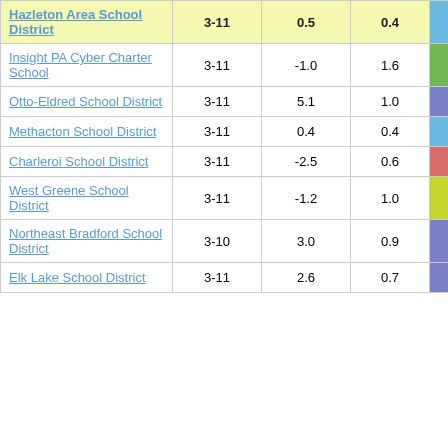| School | Grades | Col1 | Col2 | Score |
| --- | --- | --- | --- | --- |
| Hazleton Area School District | 3-11 | 0.5 | 0.4 | 1.18 |
| Insight PA Cyber Charter School | 3-11 | -1.0 | 1.6 | -0.64 |
| Otto-Eldred School District | 3-11 | 5.1 | 1.0 | 5.26 |
| Methacton School District | 3-11 | 0.4 | 0.4 | 1.17 |
| Charleroi School District | 3-11 | -2.5 | 0.6 | -3.90 |
| West Greene School District | 3-11 | -1.2 | 1.0 | -1.22 |
| Northeast Bradford School District | 3-10 | 3.0 | 0.9 | 3.25 |
| Elk Lake School District | 3-11 | 2.6 | 0.7 | 3.89 |